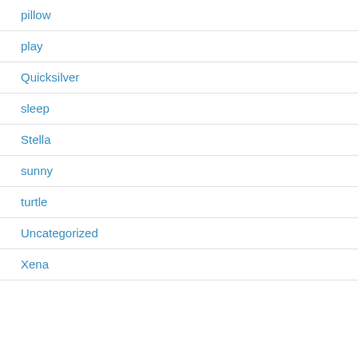pillow
play
Quicksilver
sleep
Stella
sunny
turtle
Uncategorized
Xena